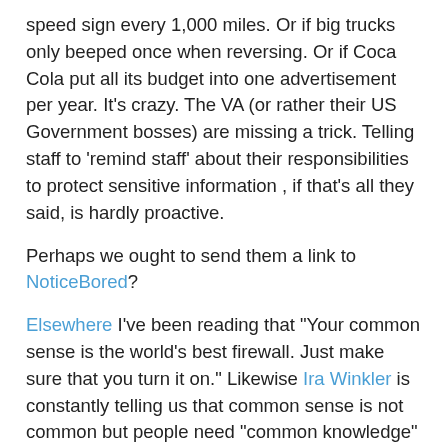speed sign every 1,000 miles. Or if big trucks only beeped once when reversing. Or if Coca Cola put all its budget into one advertisement per year. It's crazy. The VA (or rather their US Government bosses) are missing a trick. Telling staff to 'remind staff' about their responsibilities to protect sensitive information , if that's all they said, is hardly proactive.
Perhaps we ought to send them a link to NoticeBored?
Elsewhere I've been reading that "Your common sense is the world's best firewall. Just make sure that you turn it on." Likewise Ira Winkler is constantly telling us that common sense is not common but people need "common knowledge" i.e. information to make sound judgments about information security.
Citigroup seems to 'get it', judging by their advertisement for a London-based information security engineer: "The candidate will be a good communicator, capable of producing viable solutions by distilling the assumptions and requirements of the customers. The candidate will be required to promote information security awareness through